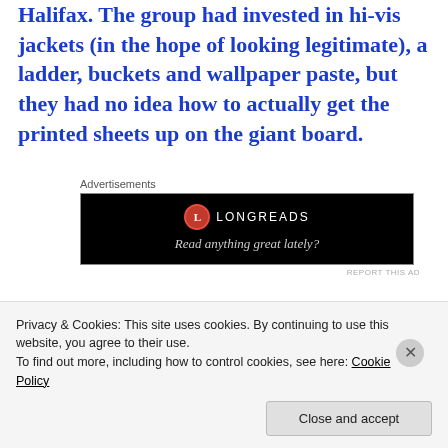Halifax. The group had invested in hi-vis jackets (in the hope of looking legitimate), a ladder, buckets and wallpaper paste, but they had no idea how to actually get the printed sheets up on the giant board.
[Figure (other): Advertisement banner for Longreads. Black background with Longreads logo (red circle with L) and text 'LONGREADS' and 'Read anything great lately?']
“The sheets kept falling down, drivers were stopping to look at us, we were covered in paste,
Privacy & Cookies: This site uses cookies. By continuing to use this website, you agree to their use.
To find out more, including how to control cookies, see here: Cookie Policy